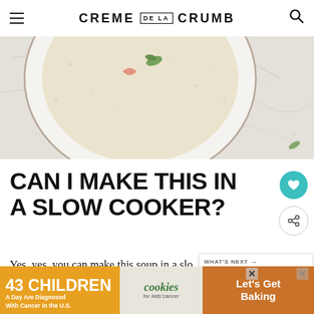CREME DE LA CRUMB
[Figure (photo): Top-down view of a white speckled bowl containing creamy soup, garnished with herbs, on a marble surface]
CAN I MAKE THIS IN A SLOW COOKER?
Yes, yes, you can make this soup in a slo... Here's what I would change though, in this recipe. I would still definitely use cooked diced chicken. So ha...
[Figure (infographic): What's Next panel showing Lemon Chicken Orz... with a thumbnail image]
[Figure (infographic): Advertisement banner: 43 Children A Day Are Diagnosed With Cancer in the U.S. / cookies for kids cancer / Let's Get Baking]